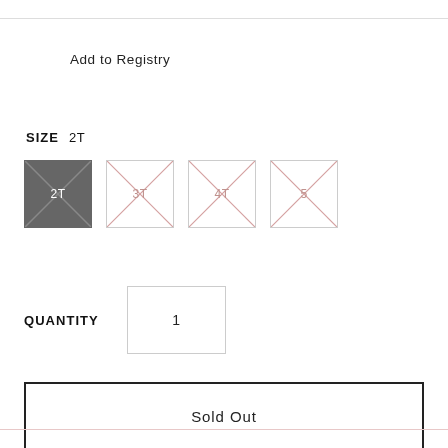Add to Registry
SIZE  2T
[Figure (other): Four size selector boxes showing sizes 2T (selected/filled dark), 3T, 4T, 5 — all with diagonal cross marks indicating sold out status. 2T is selected with dark gray fill.]
QUANTITY   1
Sold Out